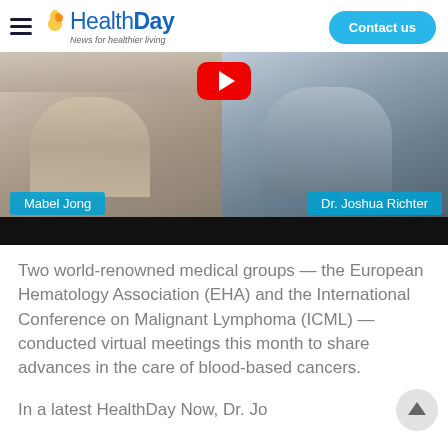HealthDay — News for healthier living
[Figure (screenshot): Video screenshot showing two people in a split-screen video call. Left person labeled 'Mabel Jong', right person labeled 'Dr. Joshua Richter'. A YouTube play button is visible at the top center.]
Two world-renowned medical groups — the European Hematology Association (EHA) and the International Conference on Malignant Lymphoma (ICML) — conducted virtual meetings this month to share advances in the care of blood-based cancers.
In a latest HealthDay Now, Dr. Jo...